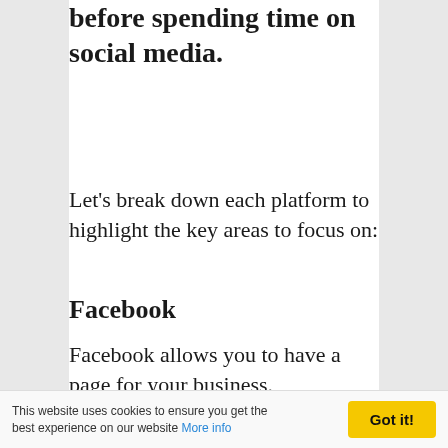before spending time on social media.
Let's break down each platform to highlight the key areas to focus on:
Facebook
Facebook allows you to have a page for your business.
This is separate to your personal
This website uses cookies to ensure you get the best experience on our website More info | Got it!